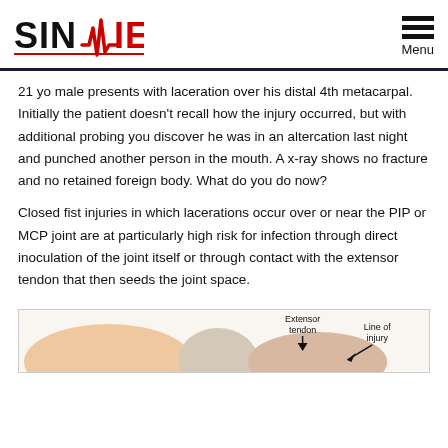SINAIEM — Menu
21 yo male presents with laceration over his distal 4th metacarpal. Initially the patient doesn't recall how the injury occurred, but with additional probing you discover he was in an altercation last night and punched another person in the mouth. A x-ray shows no fracture and no retained foreign body. What do you do now?
Closed fist injuries in which lacerations occur over or near the PIP or MCP joint are at particularly high risk for infection through direct inoculation of the joint itself or through contact with the extensor tendon that then seeds the joint space.
[Figure (illustration): Medical illustration showing a cross-section of a finger joint with labels for 'Extensor tendon' and 'Line of injury']